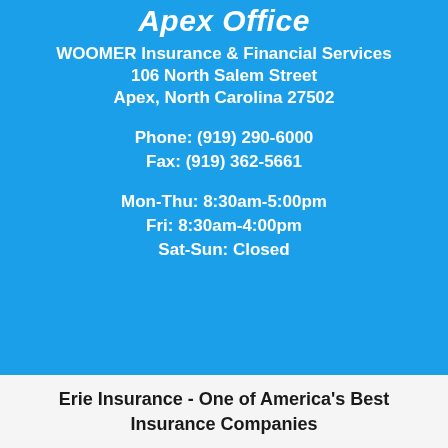Apex Office
WOOMER Insurance & Financial Services
106 North Salem Street
Apex, North Carolina 27502
Phone: (919) 290-6000
Fax: (919) 362-5661
Mon-Thu: 8:30am-5:00pm
Fri: 8:30am-4:00pm
Sat-Sun: Closed
Erie Insurance - One of America's Best Insurance Companies